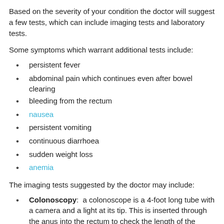Based on the severity of your condition the doctor will suggest a few tests, which can include imaging tests and laboratory tests.
Some symptoms which warrant additional tests include:
persistent fever
abdominal pain which continues even after bowel clearing
bleeding from the rectum
nausea
persistent vomiting
continuous diarrhoea
sudden weight loss
anemia
The imaging tests suggested by the doctor may include:
Colonoscopy: a colonoscope is a 4-foot long tube with a camera and a light at its tip. This is inserted through the anus into the rectum to check the length of the colon.
Flexible sigmoidoscopy: in which a thin flexible tube is used to examine the lower part of the colon.